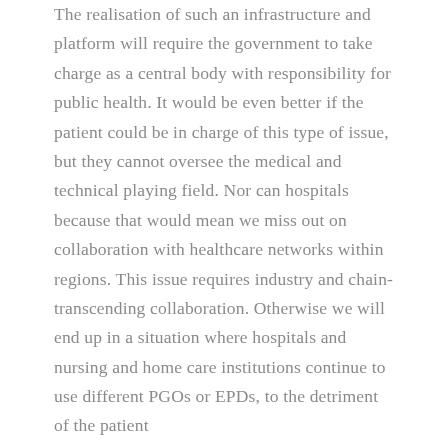The realisation of such an infrastructure and platform will require the government to take charge as a central body with responsibility for public health. It would be even better if the patient could be in charge of this type of issue, but they cannot oversee the medical and technical playing field. Nor can hospitals because that would mean we miss out on collaboration with healthcare networks within regions. This issue requires industry and chain-transcending collaboration. Otherwise we will end up in a situation where hospitals and nursing and home care institutions continue to use different PGOs or EPDs, to the detriment of the patient